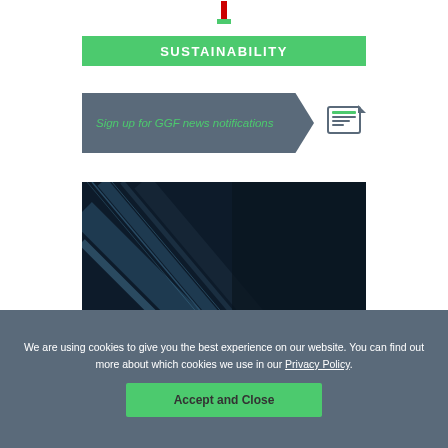[Figure (logo): Red logo mark at top center]
SUSTAINABILITY
[Figure (infographic): Dark gray arrow banner with text 'Sign up for GGF news notifications' and a newspaper icon]
[Figure (photo): Dark technology image (circuit board/highway aerial) with white bold text overlay reading 'Through transformative']
We are using cookies to give you the best experience on our website. You can find out more about which cookies we use in our Privacy Policy.
Accept and Close